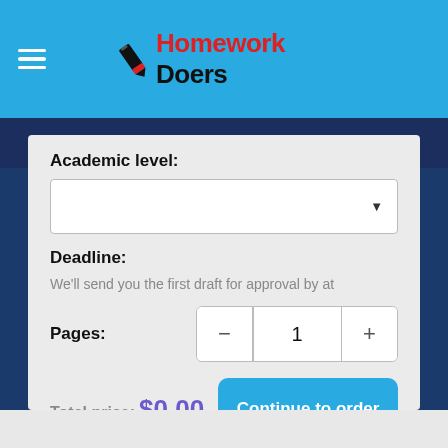Homework Doers
Academic level:
Deadline:
We'll send you the first draft for approval by at
Pages: 1
Total price: $0.00
Continue to order